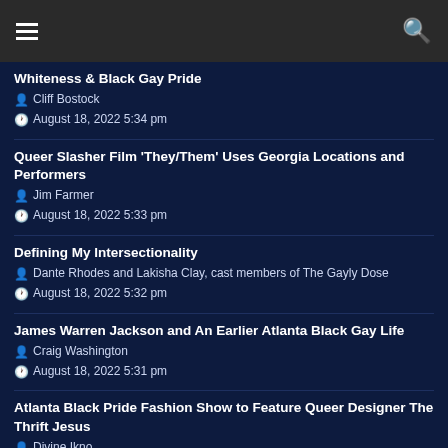Navigation bar with menu and search icons
Whiteness & Black Gay Pride
Cliff Bostock
August 18, 2022 5:34 pm
Queer Slasher Film 'They/Them' Uses Georgia Locations and Performers
Jim Farmer
August 18, 2022 5:33 pm
Defining My Intersectionality
Dante Rhodes and Lakisha Clay, cast members of The Gayly Dose
August 18, 2022 5:32 pm
James Warren Jackson and An Earlier Atlanta Black Gay Life
Craig Washington
August 18, 2022 5:31 pm
Atlanta Black Pride Fashion Show to Feature Queer Designer The Thrift Jesus
Divine Ikno